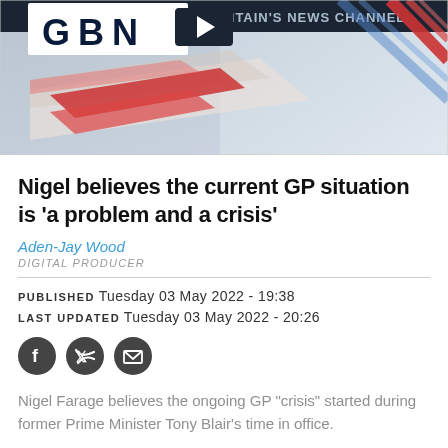[Figure (screenshot): GBN (GB News) channel logo and studio backdrop thumbnail with red and blue geometric arrow shapes on a grey background, with 'BRITAIN'S NEWS CHANNEL' text visible]
Nigel believes the current GP situation is 'a problem and a crisis'
Aden-Jay Wood
DIGITAL PRODUCER
PUBLISHED Tuesday 03 May 2022 - 19:38
LAST UPDATED Tuesday 03 May 2022 - 20:26
Nigel Farage believes the ongoing GP "crisis" started during former Prime Minister Tony Blair's time in office.